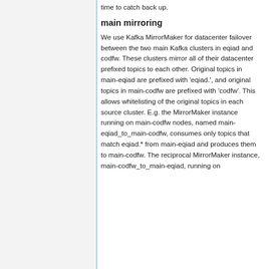time to catch back up.
main mirroring
We use Kafka MirrorMaker for datacenter failover between the two main Kafka clusters in eqiad and codfw. These clusters mirror all of their datacenter prefixed topics to each other. Original topics in main-eqiad are prefixed with 'eqiad.', and original topics in main-codfw are prefixed with 'codfw'. This allows whitelisting of the original topics in each source cluster. E.g. the MirrorMaker instance running on main-codfw nodes, named main-eqiad_to_main-codfw, consumes only topics that match eqiad.* from main-eqiad and produces them to main-codfw. The reciprocal MirrorMaker instance, main-codfw_to_main-eqiad, running on